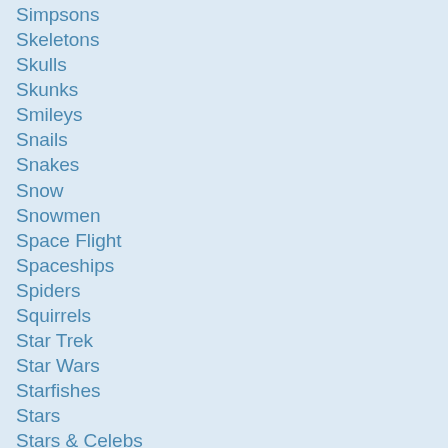Simpsons
Skeletons
Skulls
Skunks
Smileys
Snails
Snakes
Snow
Snowmen
Space Flight
Spaceships
Spiders
Squirrels
Star Trek
Star Wars
Starfishes
Stars
Stars & Celebs
Stickmen
Submarines